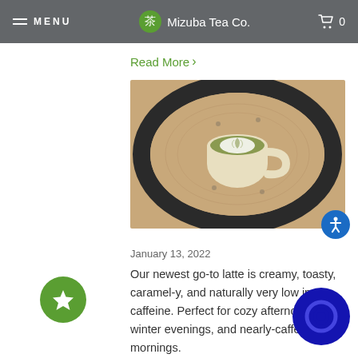MENU  Mizuba Tea Co.  0
Read More >
[Figure (photo): Overhead view of a matcha latte in a white ceramic cup with latte art on a wooden surface]
January 13, 2022
Our newest go-to latte is creamy, toasty, caramel-y, and naturally very low in caffeine. Perfect for cozy afternoons, dark winter evenings, and nearly-caffeine-free mornings.